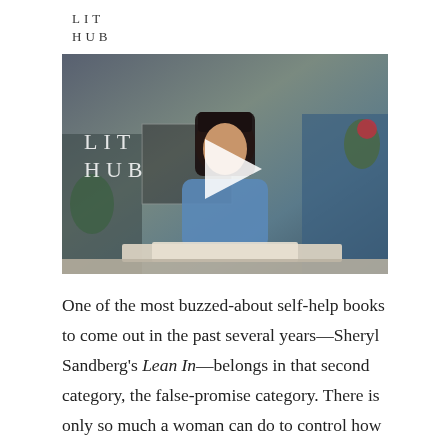LIT
HUB
[Figure (screenshot): Video thumbnail showing a woman with dark bangs reading a book at a table, with a play button overlay. 'LIT HUB' text visible in the upper left of the video frame.]
One of the most buzzed-about self-help books to come out in the past several years—Sheryl Sandberg's Lean In—belongs in that second category, the false-promise category. There is only so much a woman can do to control how she's perceived in the workplace, and, as a result,